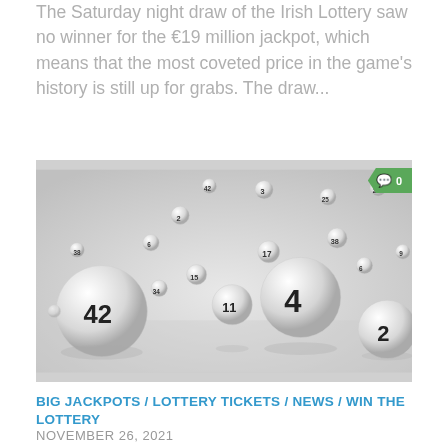The Saturday night draw of the Irish Lottery saw no winner for the €19 million jackpot, which means that the most coveted price in the game's history is still up for grabs. The draw...
[Figure (photo): Photo of multiple white lottery balls with numbers on them, scattered and floating in the air against a light gray background, with a green comment badge showing '0' in the top right corner.]
BIG JACKPOTS / LOTTERY TICKETS / NEWS / WIN THE LOTTERY
NOVEMBER 26, 2021